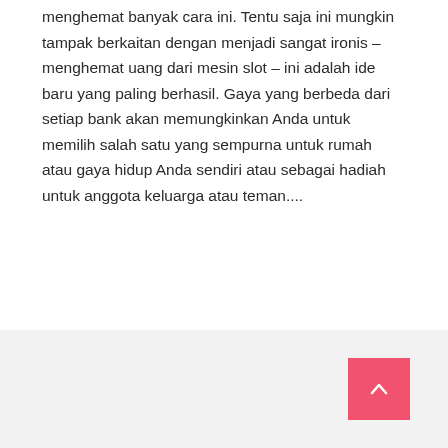menghemat banyak cara ini. Tentu saja ini mungkin tampak berkaitan dengan menjadi sangat ironis – menghemat uang dari mesin slot – ini adalah ide baru yang paling berhasil. Gaya yang berbeda dari setiap bank akan memungkinkan Anda untuk memilih salah satu yang sempurna untuk rumah atau gaya hidup Anda sendiri atau sebagai hadiah untuk anggota keluarga atau teman....
Jessie
Read More →